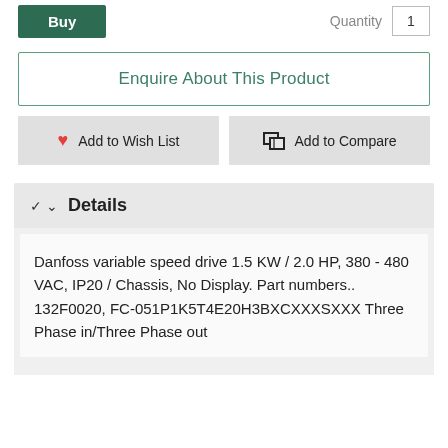Buy   Quantity 1
Enquire About This Product
Add to Wish List
Add to Compare
Details
Danfoss variable speed drive 1.5 KW / 2.0 HP, 380 - 480 VAC, IP20 / Chassis, No Display. Part numbers.. 132F0020, FC-051P1K5T4E20H3BXCXXXSXXX Three Phase in/Three Phase out